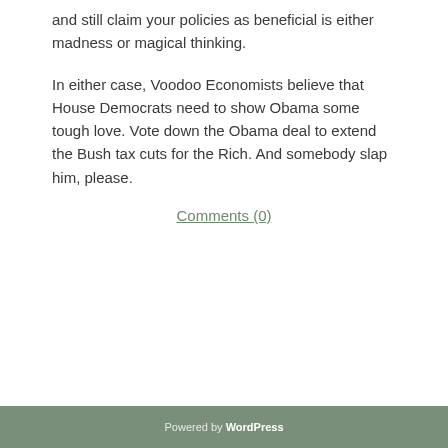and still claim your policies as beneficial is either madness or magical thinking.
In either case, Voodoo Economists believe that House Democrats need to show Obama some tough love. Vote down the Obama deal to extend the Bush tax cuts for the Rich. And somebody slap him, please.
Comments (0)
Powered by WordPress